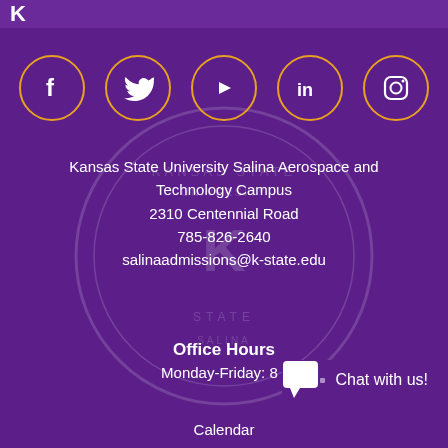[Figure (logo): Kansas State University logo top left, partial view]
[Figure (infographic): Five social media icons in gold-bordered circles: Facebook (f), Twitter (bird), YouTube (play button), LinkedIn (in), Instagram (camera)]
Kansas State University Salina Aerospace and Technology Campus
2310 Centennial Road
785-826-2640
salinaadmissions@k-state.edu
Office Hours
Monday-Friday: 8 -
[Figure (infographic): Chat with us! widget with speech bubble icon]
Calendar